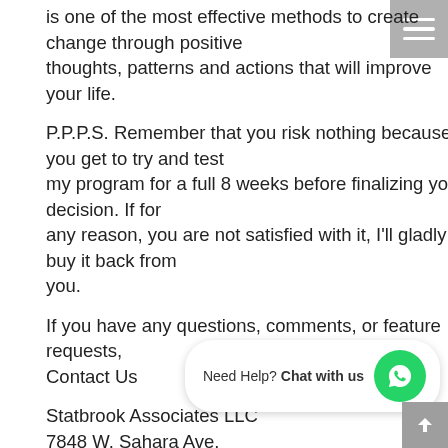is one of the most effective methods to create change through positive thoughts, patterns and actions that will improve your life.
P.P.P.S. Remember that you risk nothing because you get to try and test my program for a full 8 weeks before finalizing your decision. If for any reason, you are not satisfied with it, I'll gladly buy it back from you.
If you have any questions, comments, or feature requests, Contact Us
Statbrook Associates LLC
7848 W. Sahara Ave.
Las Vegas NV 89117
[Figure (other): WhatsApp chat widget with green circle icon and 'Need Help? Chat with us' text]